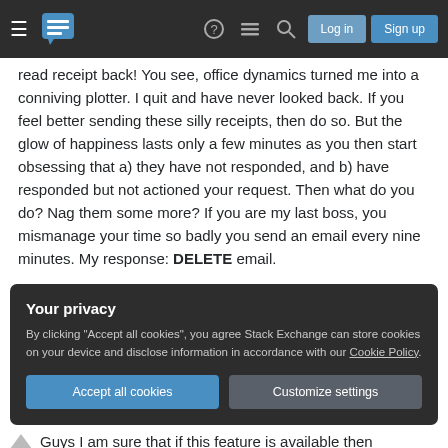Stack Exchange navigation bar with hamburger menu, logo, help, feed, search icons, Log in and Sign up buttons
read receipt back! You see, office dynamics turned me into a conniving plotter. I quit and have never looked back. If you feel better sending these silly receipts, then do so. But the glow of happiness lasts only a few minutes as you then start obsessing that a) they have not responded, and b) have responded but not actioned your request. Then what do you do? Nag them some more? If you are my last boss, you mismanage your time so badly you send an email every nine minutes. My response: DELETE email.
Your privacy
By clicking "Accept all cookies", you agree Stack Exchange can store cookies on your device and disclose information in accordance with our Cookie Policy.
Accept all cookies  Customize settings
Guys I am sure that if this feature is available then